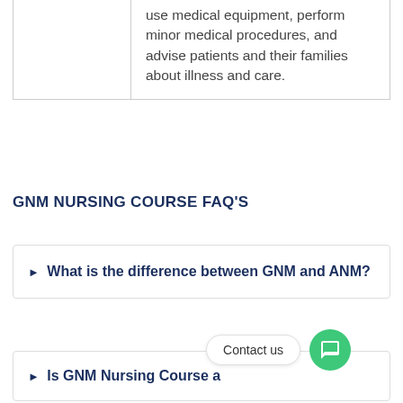|  |  |
| --- | --- |
|  | use medical equipment, perform minor medical procedures, and advise patients and their families about illness and care. |
GNM NURSING COURSE FAQ's
► What is the difference between GNM and ANM?
Contact us
► Is GNM Nursing Course a